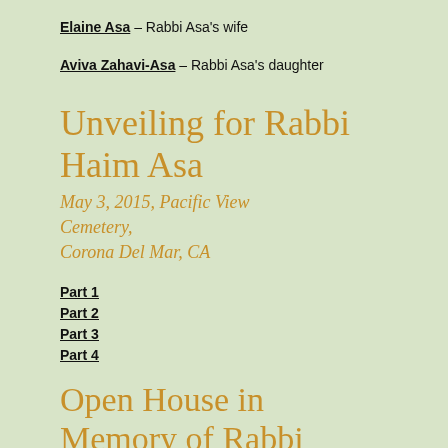Elaine Asa – Rabbi Asa's wife
Aviva Zahavi-Asa – Rabbi Asa's daughter
Unveiling for Rabbi Haim Asa
May 3, 2015, Pacific View Cemetery, Corona Del Mar, CA
Part 1
Part 2
Part 3
Part 4
Open House in Memory of Rabbi Haim Asa
December 4, 2016, Fullerton, CA